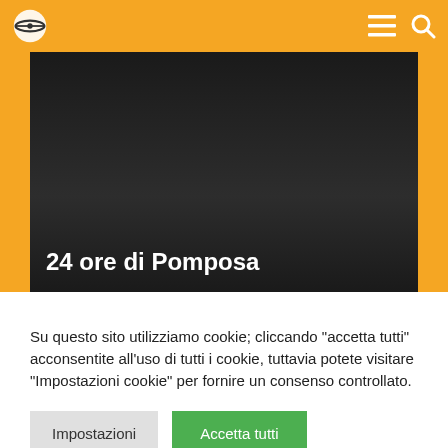Navigation header with logo, menu and search icons
[Figure (screenshot): Dark video thumbnail placeholder with title '24 ore di Pomposa' overlaid in white bold text at bottom left]
Su questo sito utilizziamo cookie; cliccando "accetta tutti" acconsentite all'uso di tutti i cookie, tuttavia potete visitare "Impostazioni cookie" per fornire un consenso controllato.
Impostazioni | Accetta tutti